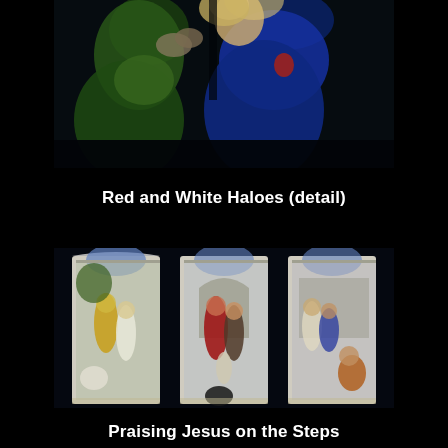[Figure (photo): Close-up detail of a stained glass window showing two figures with haloes — one in green robes on the left and one in blue robes on the right, against a dark background.]
Red and White Haloes (detail)
[Figure (photo): Photograph of a three-panel stained glass window depicting figures praising Jesus on steps. Left panel shows figures in yellow/gold and white robes. Center panel shows figures including one in red and one in darker robes with children. Right panel shows more figures in various colored robes. Stone gothic arch frames visible above each panel.]
Praising Jesus on the Steps